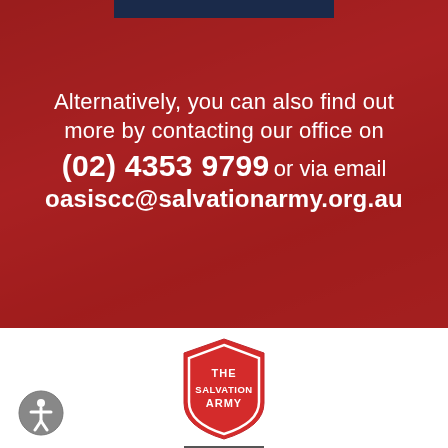[Figure (photo): Red-tinted photo of people in an office or community centre setting, with a dark blue banner at the top. Overlaid with white text.]
Alternatively, you can also find out more by contacting our office on (02) 4353 9799 or via email oasiscc@salvationarmy.org.au
[Figure (logo): The Salvation Army shield logo in red and white]